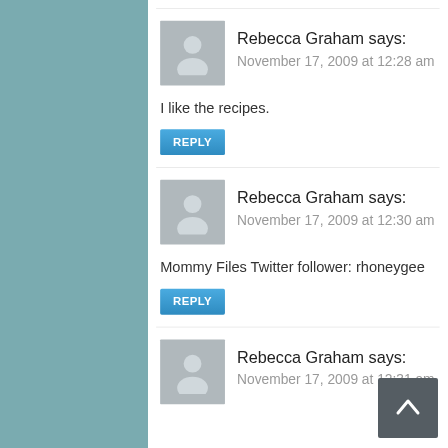Rebecca Graham says:
November 17, 2009 at 12:28 am
I like the recipes.
REPLY
Rebecca Graham says:
November 17, 2009 at 12:30 am
Mommy Files Twitter follower: rhoneygee
REPLY
Rebecca Graham says:
November 17, 2009 at 12:31 am